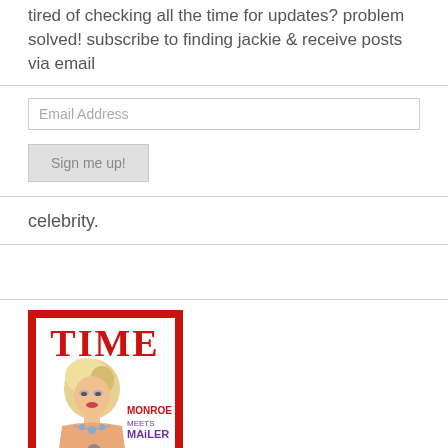tired of checking all the time for updates? problem solved! subscribe to finding jackie & receive posts via email
[Figure (screenshot): Email subscription form with Email Address input field and Sign me up! button]
celebrity.
[Figure (photo): TIME magazine cover showing Marilyn Monroe with text MONROE MEETS MAILER]